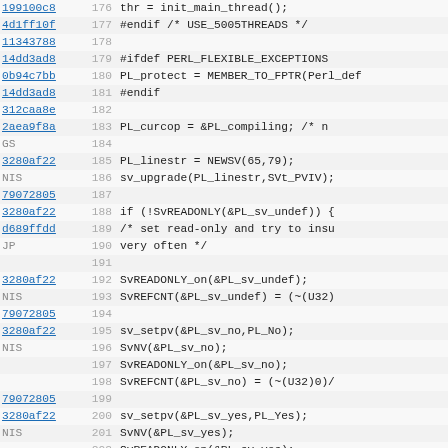[Figure (screenshot): Source code viewer showing lines 176-208 of a C/Perl source file. Left column shows git blame hashes (hyperlinked), middle column shows line numbers, right column shows code. Background alternates light grey/white per row.]